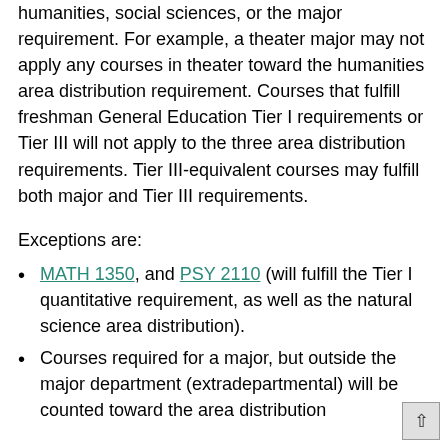humanities, social sciences, or the major requirement. For example, a theater major may not apply any courses in theater toward the humanities area distribution requirement. Courses that fulfill freshman General Education Tier I requirements or Tier III will not apply to the three area distribution requirements. Tier III-equivalent courses may fulfill both major and Tier III requirements.
Exceptions are:
MATH 1350, and PSY 2110 (will fulfill the Tier I quantitative requirement, as well as the natural science area distribution).
Courses required for a major, but outside the major department (extradepartmental) will be counted toward the area distribution